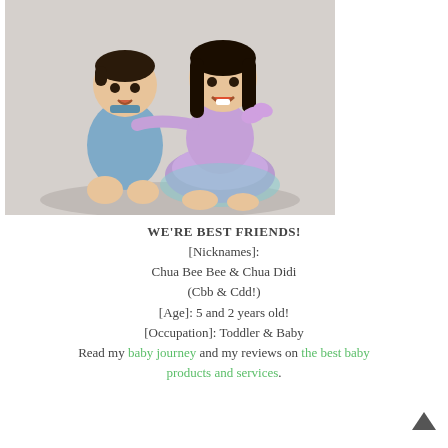[Figure (photo): Two young Asian children — a toddler boy in a blue denim shirt and a girl in a purple tutu dress — posing together on a white background in a studio photo.]
WE'RE BEST FRIENDS!
[Nicknames]:
Chua Bee Bee & Chua Didi
(Cbb & Cdd!)
[Age]: 5 and 2 years old!
[Occupation]: Toddler & Baby
Read my baby journey and my reviews on the best baby products and services.